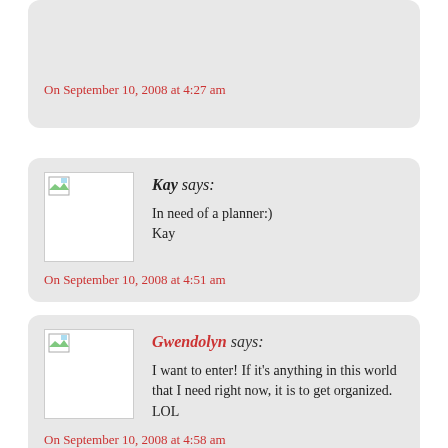On September 10, 2008 at 4:27 am
Kay says:
In need of a planner:)
Kay
On September 10, 2008 at 4:51 am
Gwendolyn says:
I want to enter! If it's anything in this world that I need right now, it is to get organized. LOL
On September 10, 2008 at 4:58 am